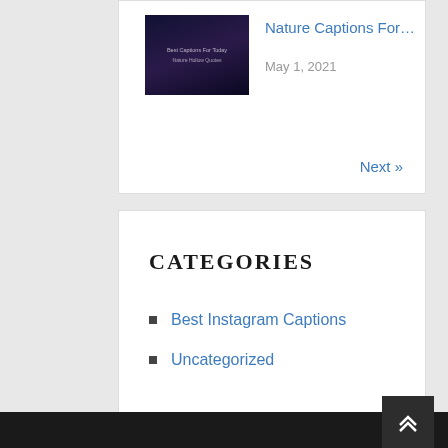[Figure (photo): Small thumbnail image with dark blue/purple night sky background with text overlay]
Nature Captions For…
May 1, 2021
Next »
CATEGORIES
Best Instagram Captions
Uncategorized
POPULAR POSTS